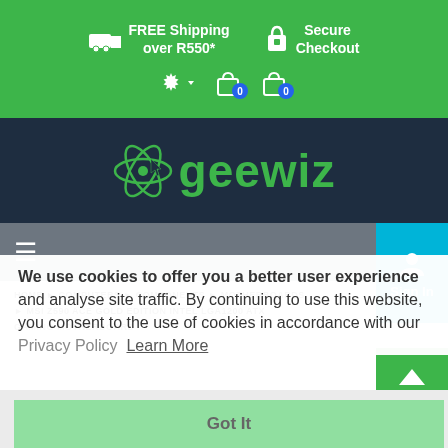[Figure (screenshot): Green top banner with truck icon and FREE Shipping over R550* text, padlock icon and Secure Checkout text, gear/settings icon with dropdown arrow, two shopping bag icons each with blue badge showing 0]
[Figure (logo): geewiz logo on dark navy background with green atom/orbit icon and green text]
[Figure (screenshot): Gray navigation bar with hamburger menu icon on the left and cyan Sign In button with person icon on the right]
HOME COMPUTERS COMPONENTS MOTHERBOARDS MSI Z590 ACE GOLD EDITION INTEL LGA1200 ATX GAMING MOTHERBOARD
We use cookies to offer you a better user experience and analyse site traffic. By continuing to use this website, you consent to the use of cookies in accordance with our Privacy Policy Learn More
[Figure (screenshot): Got It green button on light gray background]
[Figure (screenshot): Green scroll-to-top button with upward chevron arrow]
GeeWiz has moved from 6 Junction Road to 7 Junction Road